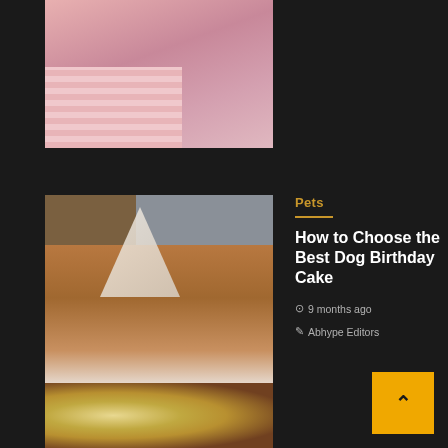[Figure (photo): Partial top image - appears to show pink striped fabric with a small animal, cropped at top]
[Figure (photo): A brown dachshund dog wearing a white polka-dot party hat, sitting against a gray couch, licking its lips]
Pets
How to Choose the Best Dog Birthday Cake
9 months ago  Abhype Editors
[Figure (photo): Partial bottom image showing what appears to be food items, possibly a dog cake]
[Figure (other): Back to top button - yellow/orange square with upward caret arrow]